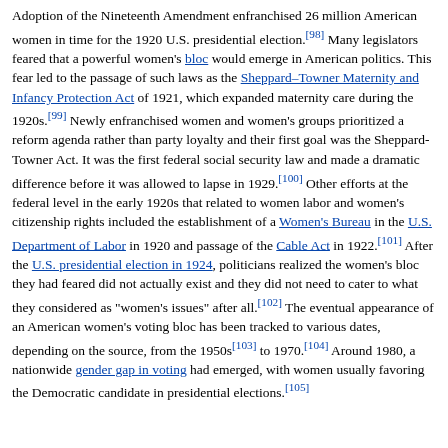Adoption of the Nineteenth Amendment enfranchised 26 million American women in time for the 1920 U.S. presidential election.[98] Many legislators feared that a powerful women's bloc would emerge in American politics. This fear led to the passage of such laws as the Sheppard–Towner Maternity and Infancy Protection Act of 1921, which expanded maternity care during the 1920s.[99] Newly enfranchised women and women's groups prioritized a reform agenda rather than party loyalty and their first goal was the Sheppard-Towner Act. It was the first federal social security law and made a dramatic difference before it was allowed to lapse in 1929.[100] Other efforts at the federal level in the early 1920s that related to women labor and women's citizenship rights included the establishment of a Women's Bureau in the U.S. Department of Labor in 1920 and passage of the Cable Act in 1922.[101] After the U.S. presidential election in 1924, politicians realized the women's bloc they had feared did not actually exist and they did not need to cater to what they considered as "women's issues" after all.[102] The eventual appearance of an American women's voting bloc has been tracked to various dates, depending on the source, from the 1950s[103] to 1970.[104] Around 1980, a nationwide gender gap in voting had emerged, with women usually favoring the Democratic candidate in presidential elections.[105]